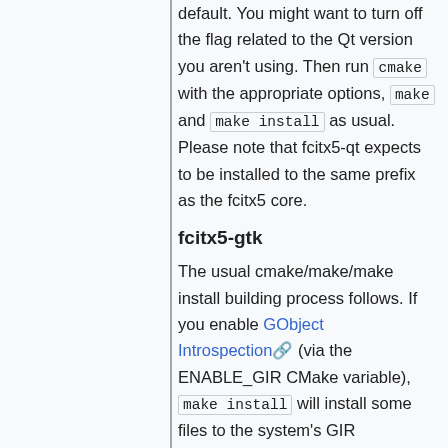default. You might want to turn off the flag related to the Qt version you aren't using. Then run cmake with the appropriate options, make and make install as usual. Please note that fcitx5-qt expects to be installed to the same prefix as the fcitx5 core.
fcitx5-gtk
The usual cmake/make/make install building process follows. If you enable GObject Introspection (via the ENABLE_GIR CMake variable), make install will install some files to the system's GIR directories regardless of what CMAKE_INSTALL_PREFIX is set to.
If you have installed it to a custom prefix, you'll need to update the GTK input